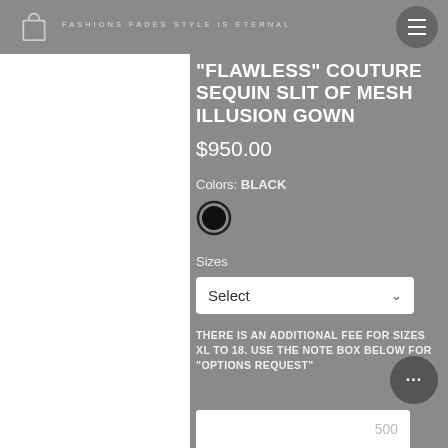FASHIONS FADES STYLE IS ETERNAL
"FLAWLESS" COUTURE SEQUIN SLIT OF MESH ILLUSION GOWN
$950.00
Colors: BLACK
Sizes
Select
THERE IS AN ADDITIONAL FEE FOR SIZES XL TO 18. USE THE NOTE BOX BELOW FOR "OPTIONS REQUEST"
500